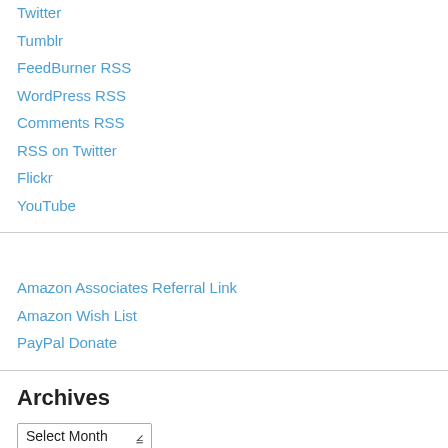Twitter
Tumblr
FeedBurner RSS
WordPress RSS
Comments RSS
RSS on Twitter
Flickr
YouTube
Amazon Associates Referral Link
Amazon Wish List
PayPal Donate
Archives
Select Month